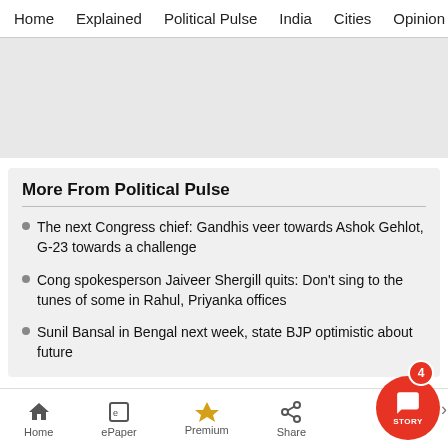Home   Explained   Political Pulse   India   Cities   Opinion   Entertainment
[Figure (other): Grey advertisement placeholder area]
More From Political Pulse
The next Congress chief: Gandhis veer towards Ashok Gehlot, G-23 towards a challenge
Cong spokesperson Jaiveer Shergill quits: Don't sing to the tunes of some in Rahul, Priyanka offices
Sunil Bansal in Bengal next week, state BJP optimistic about future
Home   ePaper   Premium   Share   STORY